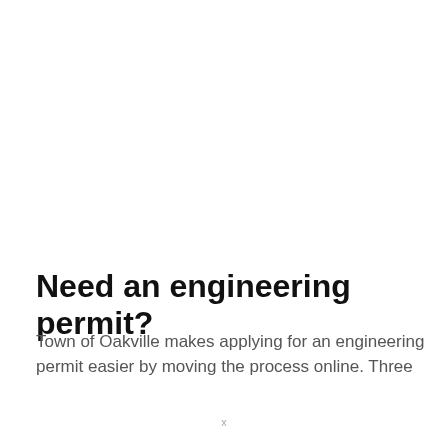Need an engineering permit?
Town of Oakville makes applying for an engineering permit easier by moving the process online. Three